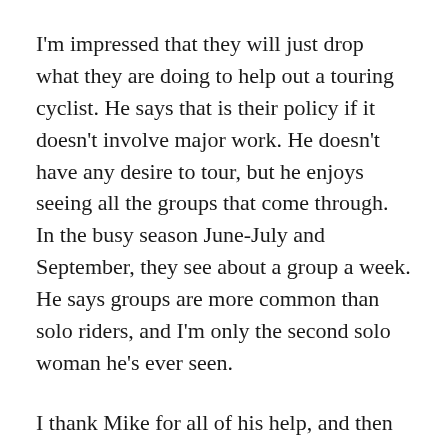I'm impressed that they will just drop what they are doing to help out a touring cyclist. He says that is their policy if it doesn't involve major work. He doesn't have any desire to tour, but he enjoys seeing all the groups that come through. In the busy season June-July and September, they see about a group a week. He says groups are more common than solo riders, and I'm only the second solo woman he's ever seen.
I thank Mike for all of his help, and then head over to a nearby McDonalds to check wifi – I don't eat there very often, but I've sure been in a lot of them drinking iced tea while I check the weather! There are several museums and touristy things to see in town, but I'm not feeling overly nerdy today. There are no